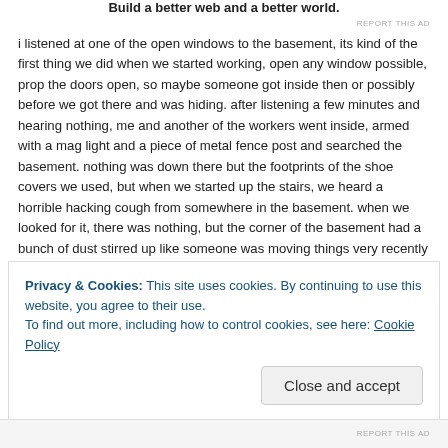Build a better web and a better world.
REPORT THIS AD
i listened at one of the open windows to the basement, its kind of the first thing we did when we started working, open any window possible, prop the doors open, so maybe someone got inside then or possibly before we got there and was hiding. after listening a few minutes and hearing nothing, me and another of the workers went inside, armed with a mag light and a piece of metal fence post and searched the basement. nothing was down there but the footprints of the shoe covers we used, but when we started up the stairs, we heard a horrible hacking cough from somewhere in the basement. when we looked for it, there was nothing, but the corner of the basement had a bunch of dust stirred up like someone was moving things very recently that weirded us both out.
we called the guys back in and they got back to the boxes, but all of them kept feeling like they were being touched while throwing away material from the boxes that got fl...
Privacy & Cookies: This site uses cookies. By continuing to use this website, you agree to their use.
To find out more, including how to control cookies, see here: Cookie Policy
Close and accept